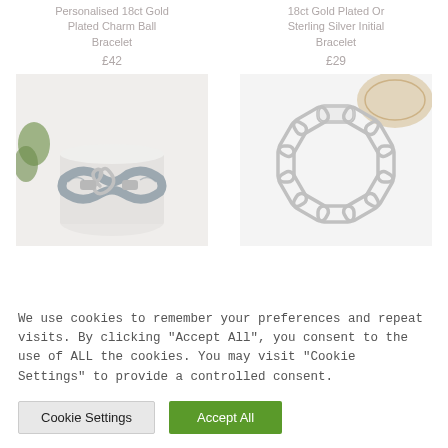Personalised 18ct Gold Plated Charm Ball Bracelet
£42
18ct Gold Plated Or Sterling Silver Initial Bracelet
£29
[Figure (photo): Grey rope bracelet with silver infinity knot clasp on white cylindrical stand with green plant in background]
[Figure (photo): Silver chain link bracelet arranged in a circle on white background with woven rattan tray]
We use cookies to remember your preferences and repeat visits. By clicking "Accept All", you consent to the use of ALL the cookies. You may visit "Cookie Settings" to provide a controlled consent.
Cookie Settings
Accept All